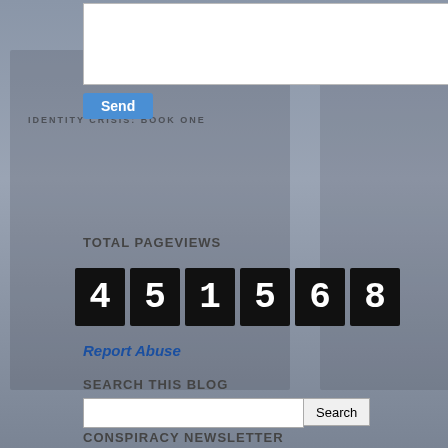[Figure (screenshot): Blog sidebar widget with textarea, Send button, total pageviews counter showing 451568, Report Abuse link, Search This Blog field, and Conspiracy Newsletter section with pen image]
IDENTITY CRISIS: BOOK ONE
Send
TOTAL PAGEVIEWS
4 5 1 5 6 8
Report Abuse
SEARCH THIS BLOG
CONSPIRACY NEWSLETTER
[Figure (photo): Close-up photo of a fountain pen on aged paper]
Unknown April 10
Brink'S Chaos The Kickstarter >>>>>
>>>>> Download
Brink'S Chaos The Kickstarter >>>>>
>>>>> Download
Brink'S Chaos The Kickstarter >>>>>
>>>>> Download
Reply
Enter Comment